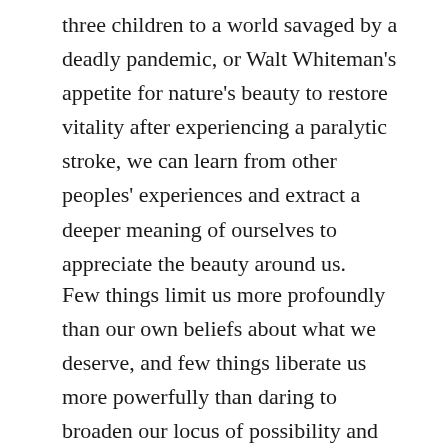three children to a world savaged by a deadly pandemic, or Walt Whiteman's appetite for nature's beauty to restore vitality after experiencing a paralytic stroke, we can learn from other peoples' experiences and extract a deeper meaning of ourselves to appreciate the beauty around us.
Few things limit us more profoundly than our own beliefs about what we deserve, and few things liberate us more powerfully than daring to broaden our locus of possibility and self-permission for happiness. The stories we tell ourselves about what we are worthy or unworthy of — from the small luxuries of naps